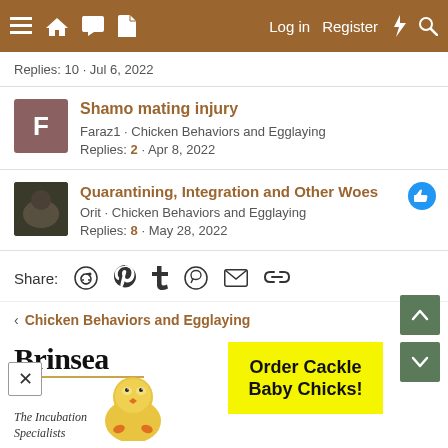≡ 🏠 💬 📄   Log in   Register   ⚡ 🔍
Replies: 10 · Jul 6, 2022
Shamo mating injury — Faraz1 · Chicken Behaviors and Egglaying — Replies: 2 · Apr 8, 2022
Quarantining, Integration and Other Woes — Orit · Chicken Behaviors and Egglaying — Replies: 8 · May 28, 2022
Share:
< Chicken Behaviors and Egglaying
[Figure (photo): Brinsea The Incubation Specialists logo with chick image]
[Figure (photo): Order Cackle Baby Chicks! advertisement in yellow]
AdorStore